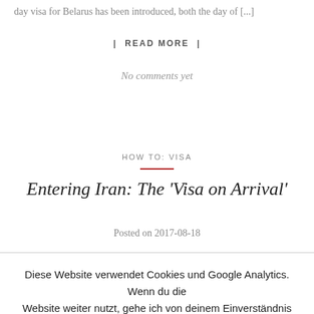day visa for Belarus has been introduced, both the day of [...]
| READ MORE |
No comments yet
HOW TO: VISA
Entering Iran: The ‘Visa on Arrival’
Posted on 2017-08-18
Diese Website verwendet Cookies und Google Analytics. Wenn du die Website weiter nutzt, gehe ich von deinem Einverständnis aus.
Accept  Read More